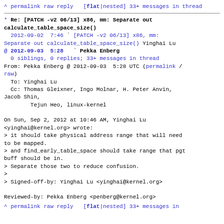^ permalink raw reply  [flat|nested] 33+ messages in thread
* Re: [PATCH -v2 06/13] x86, mm: Separate out calculate_table_space_size()
  2012-09-02  7:46 ` [PATCH -v2 06/13] x86, mm: Separate out calculate_table_space_size() Yinghai Lu
@ 2012-09-03  5:28   ` Pekka Enberg
  0 siblings, 0 replies; 33+ messages in thread
From: Pekka Enberg @ 2012-09-03  5:28 UTC (permalink / raw)
  To: Yinghai Lu
  Cc: Thomas Gleixner, Ingo Molnar, H. Peter Anvin, Jacob Shin,
        Tejun Heo, linux-kernel

On Sun, Sep 2, 2012 at 10:46 AM, Yinghai Lu
<yinghai@kernel.org> wrote:
> it should take physical address range that will need to be mapped.
> and find_early_table_space should take range that pgt buff should be in.
> Separate those two to reduce confusion.
>
> Signed-off-by: Yinghai Lu <yinghai@kernel.org>

Reviewed-by: Pekka Enberg <penberg@kernel.org>
^ permalink raw reply  [flat|nested] 33+ messages in